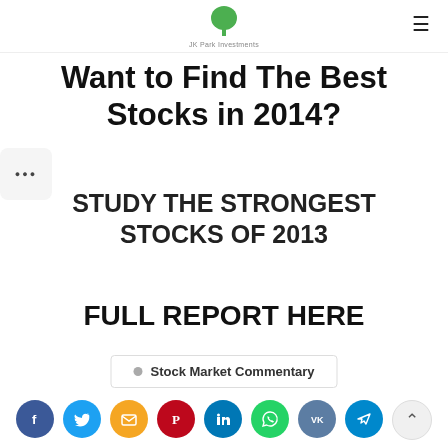JK Park Investments
Want to Find The Best Stocks in 2014?
STUDY THE STRONGEST STOCKS OF 2013
FULL REPORT HERE
Stock Market Commentary
[Figure (other): Social sharing icons row: Facebook, Twitter, Email, Pinterest, LinkedIn, WhatsApp, VK, Telegram]